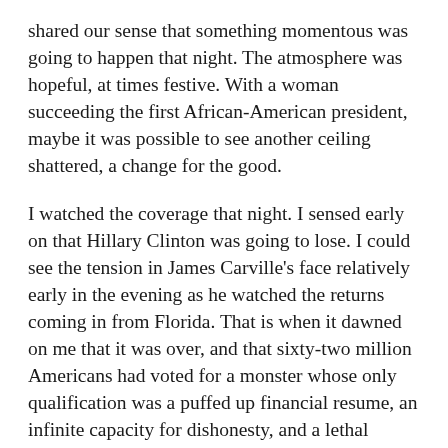shared our sense that something momentous was going to happen that night. The atmosphere was hopeful, at times festive. With a woman succeeding the first African-American president, maybe it was possible to see another ceiling shattered, a change for the good.
I watched the coverage that night. I sensed early on that Hillary Clinton was going to lose. I could see the tension in James Carville's face relatively early in the evening as he watched the returns coming in from Florida. That is when it dawned on me that it was over, and that sixty-two million Americans had voted for a monster whose only qualification was a puffed up financial resume, an infinite capacity for dishonesty, and a lethal ability to combine corruption, vindictiveness, racism and incompetence.
Over the past four years I have cut people out of my life who continue to support this monster. For each of his crimes they have had an excuse or a denial. At times I am disappointed in